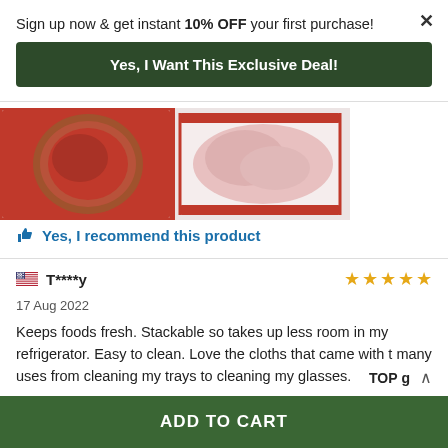Sign up now & get instant 10% OFF your first purchase!
Yes, I Want This Exclusive Deal!
[Figure (photo): Two photos of meat/food products in red packaging]
Yes, I recommend this product
T****y
17 Aug 2022
Keeps foods fresh. Stackable so takes up less room in my refrigerator. Easy to clean. Love the cloths that came with t many uses from cleaning my trays to cleaning my glasses. TOP g to order more for putting up Thanksgiving left overs.
ADD TO CART